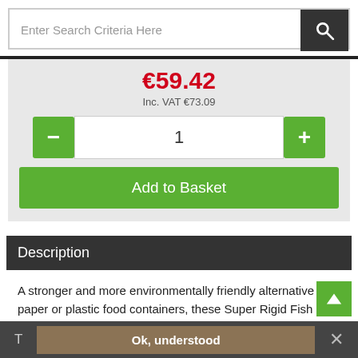[Figure (screenshot): Search bar with text input 'Enter Search Criteria Here' and dark search icon button]
€59.42
Inc. VAT €73.09
[Figure (other): Quantity selector with minus button, input showing 1, and plus button]
Add to Basket
Description
A stronger and more environmentally friendly alternative to paper or plastic food containers, these Super Rigid Fish and Chip Containers are crafted from 100% biodegradable non-woven fibres. They are super strong and liquid resistant, allowing them to hold more than paper alternatives without
Ok, understood